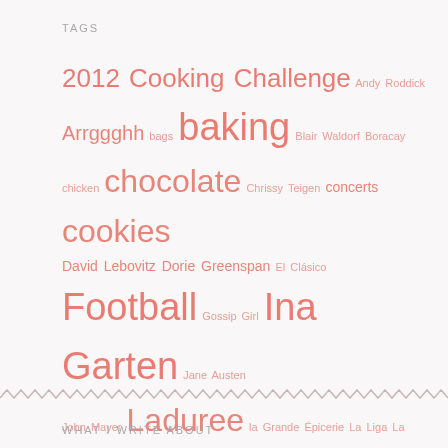TAGS
2012 Cooking Challenge Andy Roddick Arrggghh bags baking Blair Waldorf Boracay chicken chocolate Chrissy Teigen concerts cookies David Lebovitz Dorie Greenspan El Clásico Football Gossip Girl Ina Garten Jane Austen John Mayer Laduree la Grande Épicerie La Liga La Maison du Chocolat macarons Mercato Centrale Merry Moo New York Nigella Lawson OOTD Paris Pierre Hermé Pride and Prejudice Real Madrid shoes shopping Singapore Spain tennis Unsolicited fashion advice
WHAT I WRITE ABOUT